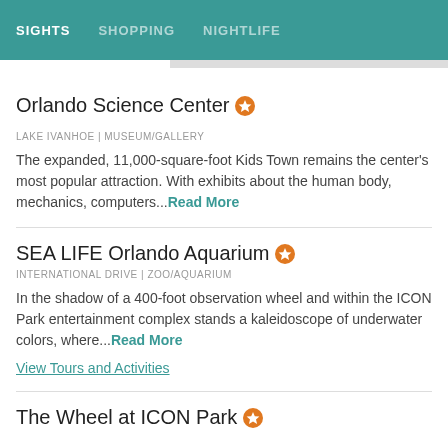SIGHTS | SHOPPING | NIGHTLIFE
Orlando Science Center
LAKE IVANHOE | MUSEUM/GALLERY
The expanded, 11,000-square-foot Kids Town remains the center's most popular attraction. With exhibits about the human body, mechanics, computers...Read More
SEA LIFE Orlando Aquarium
INTERNATIONAL DRIVE | ZOO/AQUARIUM
In the shadow of a 400-foot observation wheel and within the ICON Park entertainment complex stands a kaleidoscope of underwater colors, where...Read More
View Tours and Activities
The Wheel at ICON Park